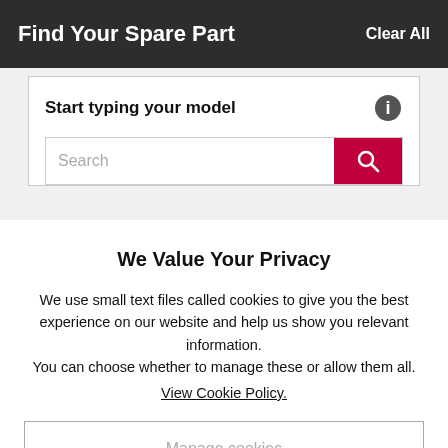Find Your Spare Part    Clear All
Start typing your model
Search
We Value Your Privacy
We use small text files called cookies to give you the best experience on our website and help us show you relevant information.
You can choose whether to manage these or allow them all.
View Cookie Policy.
Manage cookies
Allow all